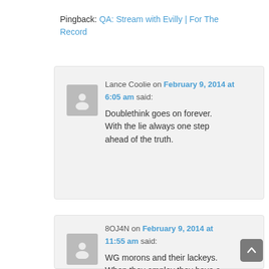Pingback: QA: Stream with Evilly | For The Record
Lance Coolie on February 9, 2014 at 6:05 am said: Doublethink goes on forever. With the lie always one step ahead of the truth.
8OJ4N on February 9, 2014 at 11:55 am said: WG morons and their lackeys. When they employ they have a